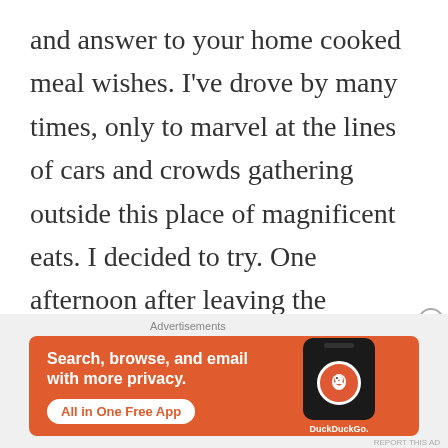and answer to your home cooked meal wishes. I've drove by many times, only to marvel at the lines of cars and crowds gathering outside this place of magnificent eats. I decided to try. One afternoon after leaving the Lexington County Administration Building, my husband and I took...
[Figure (screenshot): DuckDuckGo advertisement banner with orange background. Text reads 'Search, browse, and email with more privacy. All in One Free App' with a phone mockup showing the DuckDuckGo logo and brand name.]